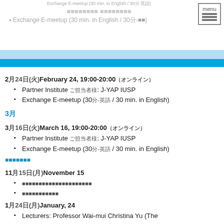Exchange E-meetup (30 min. in English / 30-分)
3月
2月24日(火)February 24, 19:00-20:00（オンライン）
Partner Institute ご担当者様: J-YAP IUSP
Exchange E-meetup (30分-英語 / 30 min. in English)
3月
3月16日(火)March 16, 19:00-20:00（オンライン）
Partner Institute ご担当者様: J-YAP IUSP
Exchange E-meetup (30分-英語 / 30 min. in English)
詳細はこちら
11月15日(月)November 15
（日本語テキスト）
（日本語テキスト）
1月24日(月)January, 24
Lecturers: Professor Wai-mui Christina Yu (The